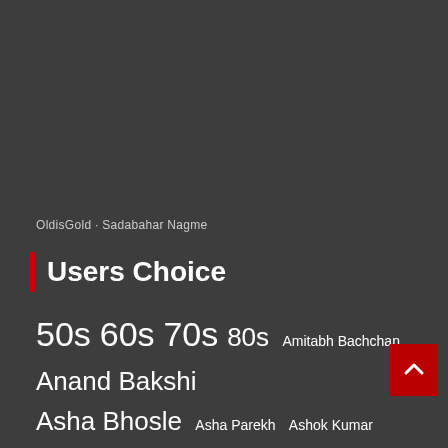OldisGold · Sadabahar Nagme
Users Choice
50s 60s 70s 80s Amitabh Bachchan Anand Bakshi Asha Bhosle Asha Parekh Ashok Kumar Bollywood News Dard-e-Dil Dev Anand Dilip Kumar Disco Geeta Dutt Guru Dutt Hasrat Jaipuri Johny Walker Kalyanji-Anandji Kishore Da Lata Mangeshkar Laxmikant Pyarelal Madhubala